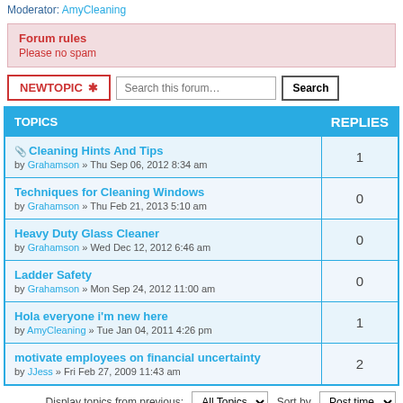Moderator: AmyCleaning
Forum rules
Please no spam
NEWTOPIC ✱   Search this forum...   Search
| TOPICS | REPLIES |
| --- | --- |
| Cleaning Hints And Tips
by Grahamson » Thu Sep 06, 2012 8:34 am | 1 |
| Techniques for Cleaning Windows
by Grahamson » Thu Feb 21, 2013 5:10 am | 0 |
| Heavy Duty Glass Cleaner
by Grahamson » Wed Dec 12, 2012 6:46 am | 0 |
| Ladder Safety
by Grahamson » Mon Sep 24, 2012 11:00 am | 0 |
| Hola everyone i'm new here
by AmyCleaning » Tue Jan 04, 2011 4:26 pm | 1 |
| motivate employees on financial uncertainty
by JJess » Fri Feb 27, 2009 11:43 am | 2 |
Display topics from previous: All Topics ▾  Sort by  Post time ▾
NEWTOPIC ✱